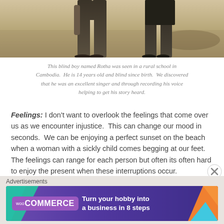[Figure (photo): Partial photo of people (children/boy) standing on sandy ground, visible from waist down, with shadows cast on the earth.]
This blind boy named Rotha was seen in a rural school in Cambodia.  He is 14 years old and blind since birth.  We discovered that he was an excellent singer and through recording his voice helping to get his story heard.
Feelings: I don't want to overlook the feelings that come over us as we encounter injustice.  This can change our mood in seconds.  We can be enjoying a perfect sunset on the beach when a woman with a sickly child comes begging at our feet.  The feelings can range for each person but often its often hard to enjoy the present when these interruptions occur.
Response: How we feel often determines how we react.
[Figure (other): WooCommerce advertisement banner: 'Turn your hobby into a business in 8 steps']